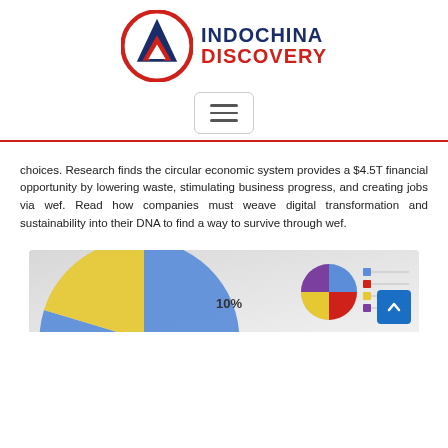[Figure (logo): Indochina Discovery logo: red circle with blue/red mountain/arrow icon, text INDOCHINA DISCOVERY in blue and red]
[Figure (other): Hamburger menu button (three horizontal lines) in a rounded rectangle border]
choices. Research finds the circular economic system provides a $4.5T financial opportunity by lowering waste, stimulating business progress, and creating jobs via wef. Read how companies must weave digital transformation and sustainability into their DNA to find a way to survive through wef.
[Figure (infographic): Partial pie/donut chart infographic showing circular economy data. Visible: a large blue-yellow pie chart on the left, a 10% label in center, and a smaller multicolor pie chart on the right with a legend. Background is light gray gradient.]